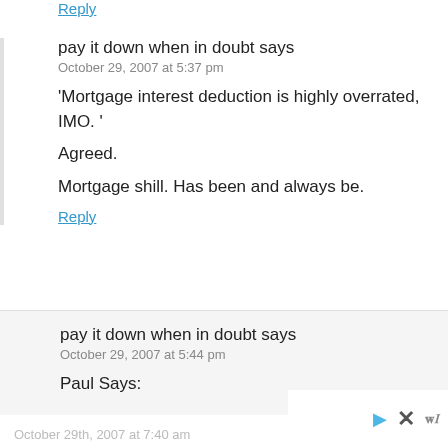Reply
pay it down when in doubt says
October 29, 2007 at 5:37 pm
'Mortgage interest deduction is highly overrated, IMO. '
Agreed.
Mortgage shill. Has been and always be.
Reply
pay it down when in doubt says
October 29, 2007 at 5:44 pm
Paul Says:
October 29th, 2007 at 7:40 am